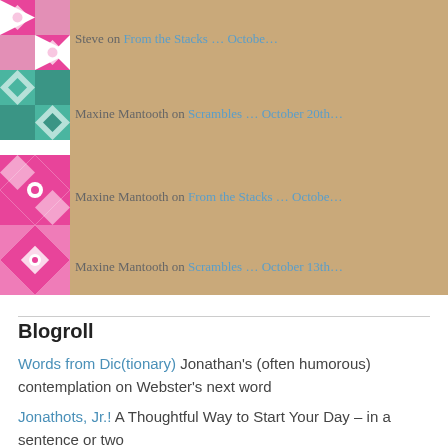Steve on From the Stacks … Octobe…
Maxine Mantooth on Scrambles … October 20th…
Maxine Mantooth on From the Stacks … Octobe…
Maxine Mantooth on Scrambles … October 13th…
Blogroll
Words from Dic(tionary) Jonathan's (often humorous) contemplation on Webster's next word
Jonathots, Jr.! A Thoughtful Way to Start Your Day – in a sentence or two
Good News and Better News — Jonathan's Weekly Podcast Once a